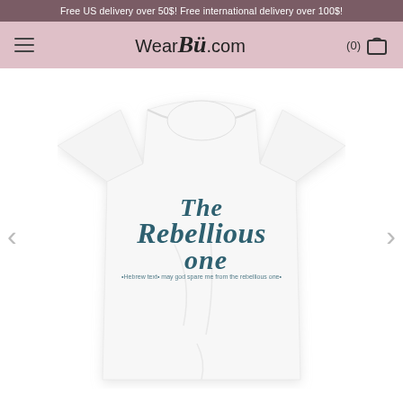Free US delivery over 50$! Free international delivery over 100$!
[Figure (screenshot): WearBü.com website navigation bar with hamburger menu, logo, and cart icon showing (0) items]
[Figure (photo): White unisex t-shirt with 'The Rebellious One' printed in teal/dark blue serif font, with small Hebrew text below]